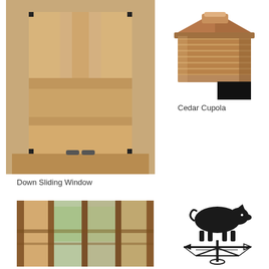[Figure (photo): Down sliding cedar wood window with frame, open position showing interior grid panels]
[Figure (photo): Cedar cupola with louvered sides and pyramid roof cap]
Cedar Cupola
Down Sliding Window
[Figure (photo): Barn interior showing wood panel walls and windows]
[Figure (photo): Black metal pig weathervane on directional stand]